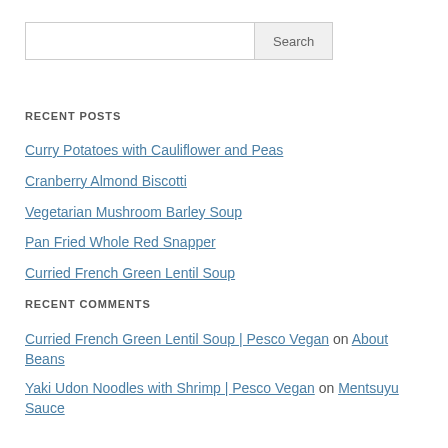[Figure (other): Search input box with Search button]
RECENT POSTS
Curry Potatoes with Cauliflower and Peas
Cranberry Almond Biscotti
Vegetarian Mushroom Barley Soup
Pan Fried Whole Red Snapper
Curried French Green Lentil Soup
RECENT COMMENTS
Curried French Green Lentil Soup | Pesco Vegan on About Beans
Yaki Udon Noodles with Shrimp | Pesco Vegan on Mentsuyu Sauce